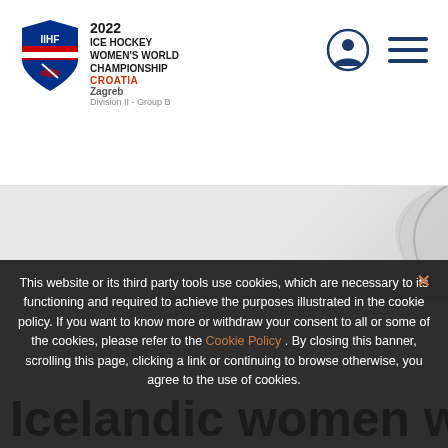[Figure (logo): IIHF 2022 Ice Hockey Women's World Championship Croatia - Zagreb, Division II Group B logo and header navigation with user icon and hamburger menu]
[Figure (illustration): Hero banner area with light grey background and decorative curved shape]
This website or its third party tools use cookies, which are necessary to its functioning and required to achieve the purposes illustrated in the cookie policy. If you want to know more or withdraw your consent to all or some of the cookies, please refer to the Cookie Policy . By closing this banner, scrolling this page, clicking a link or continuing to browse otherwise, you agree to the use of cookies.
Icelandic women win